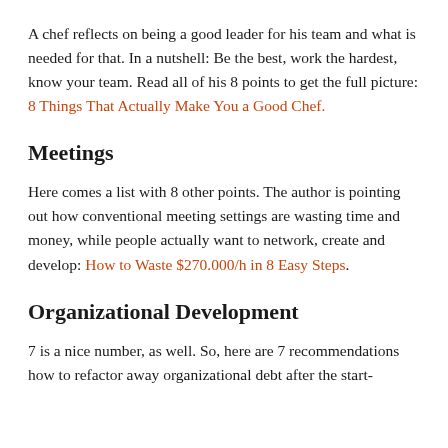A chef reflects on being a good leader for his team and what is needed for that. In a nutshell: Be the best, work the hardest, know your team. Read all of his 8 points to get the full picture: 8 Things That Actually Make You a Good Chef.
Meetings
Here comes a list with 8 other points. The author is pointing out how conventional meeting settings are wasting time and money, while people actually want to network, create and develop: How to Waste $270.000/h in 8 Easy Steps.
Organizational Development
7 is a nice number, as well. So, here are 7 recommendations how to refactor away organizational debt after the start-